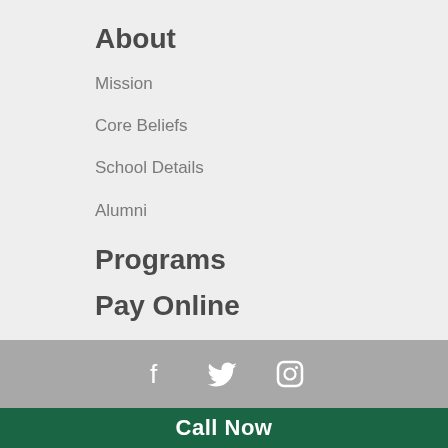About
Mission
Core Beliefs
School Details
Alumni
Programs
Pay Online
[Figure (infographic): Social media icons: Facebook, Twitter, Instagram on a gray bar]
Call Now